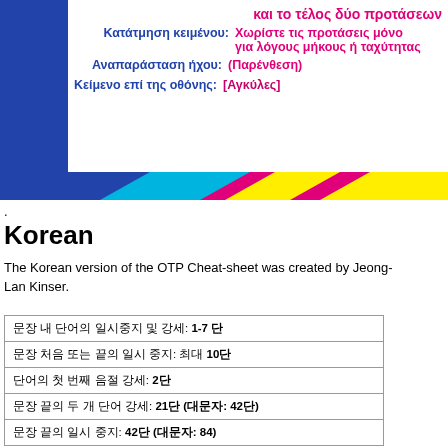και το τέλος δύο προτάσεων
Κατάτμηση κειμένου: Χωρίστε τις προτάσεις μόνο για λόγους μήκους ή ταχύτητας
Αναπαράσταση ήχου: (Παρένθεση)
Κείμενο επί της οθόνης: [Αγκύλες]
.
Korean
The Korean version of the OTP Cheat-sheet was created by Jeong-Lan Kinser.
| 문장 내 단어의 일시중지 및 강세: 1-7 단 |
| 문장 처음 또는 끝의 일시 중지: 최대 10단 |
| 단어의 첫 번째 음절 강세: 2단 |
| 문장 끝의 두 개 단어 강세: 21단 (대문자: 42단) |
| 문장 끝의 일시 중지: 42단 (대문자: 84) |